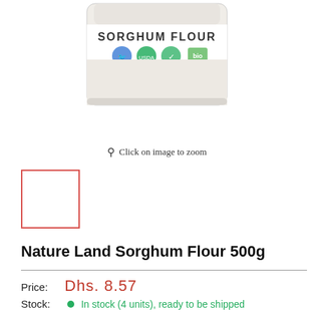[Figure (photo): Package of Nature Land Sorghum Flour 500g with certification logos]
Click on image to zoom
[Figure (photo): Small thumbnail image of the sorghum flour package with red border selection box]
Nature Land Sorghum Flour 500g
Price: Dhs. 8.57
Stock: In stock (4 units), ready to be shipped